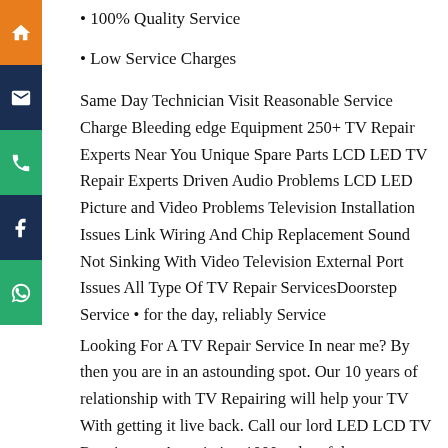• 100% Quality Service
• Low Service Charges
Same Day Technician Visit Reasonable Service Charge Bleeding edge Equipment 250+ TV Repair Experts Near You Unique Spare Parts LCD LED TV Repair Experts Driven Audio Problems LCD LED Picture and Video Problems Television Installation Issues Link Wiring And Chip Replacement Sound Not Sinking With Video Television External Port Issues All Type Of TV Repair ServicesDoorstep Service • for the day, reliably Service
Looking For A TV Repair Service In near me? By then you are in an astounding spot. Our 10 years of relationship with TV Repairing will help your TV With getting it live back. Call our lord LED LCD TV Repair now. Association 1000+ cheerful customers month to month. Trustworthy and